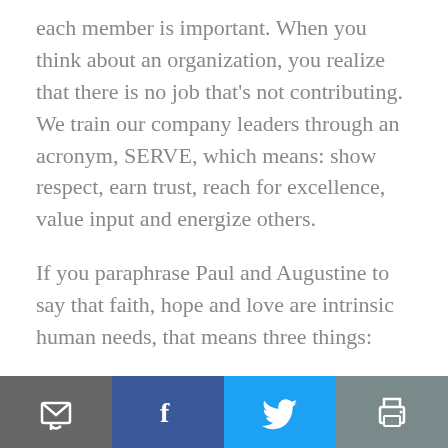each member is important. When you think about an organization, you realize that there is no job that's not contributing. We train our company leaders through an acronym, SERVE, which means: show respect, earn trust, reach for excellence, value input and energize others.
If you paraphrase Paul and Augustine to say that faith, hope and love are intrinsic human needs, that means three things:
One, there has to be a sense of purpose and
[toolbar: email, facebook, twitter, print]